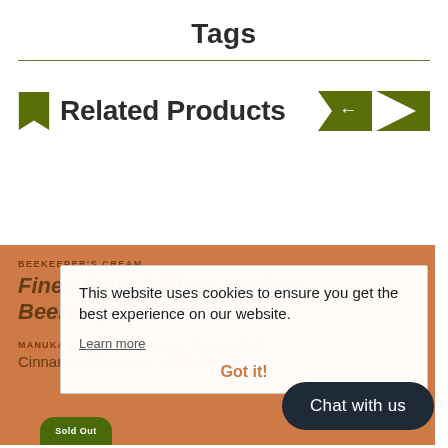Tags
Related Products
BEEKEEPER'S CREAM
Fines French River Healing Beekeeper's Cream
MANUKA HONEY · Chocolate Truffle Bar Cinnamon Cayenne - 55% Cacao
This website uses cookies to ensure you get the best experience on our website.
Learn more
Got it!
Chat with us
Sold Out
Cart